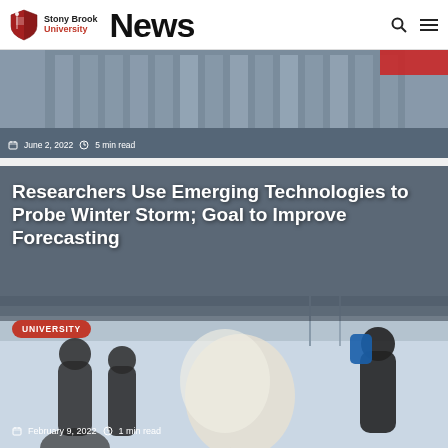Stony Brook University News
[Figure (photo): Partial view of a building with glass facade, top article card showing June 2, 2022, 5 min read]
June 2, 2022  ·  5 min read
[Figure (photo): Researchers in winter clothing outdoors in snowy conditions, one person releasing a large weather balloon]
Researchers Use Emerging Technologies to Probe Winter Storm; Goal to Improve Forecasting
UNIVERSITY
February 9, 2022  ·  1 min read